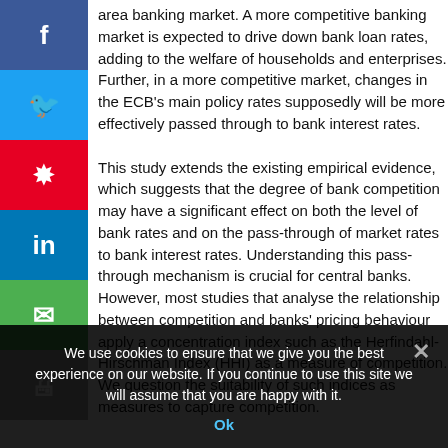area banking market. A more competitive banking market is expected to drive down bank loan rates, adding to the welfare of households and enterprises. Further, in a more competitive market, changes in the ECB's main policy rates supposedly will be more effectively passed through to bank interest rates.
This study extends the existing empirical evidence, which suggests that the degree of bank competition may have a significant effect on both the level of bank rates and on the pass-through of market rates to bank interest rates. Understanding this pass-through mechanism is crucial for central banks. However, most studies that analyse the relationship between competition and banks' pricing behaviour apply a concentration index such as the Herfindahl-Hirschman Index (HHI) as a measure of competition. We question the suitability of such indices as measures to capture competition.
We use cookies to ensure that we give you the best experience on our website. If you continue to use this site we will assume that you are happy with it.